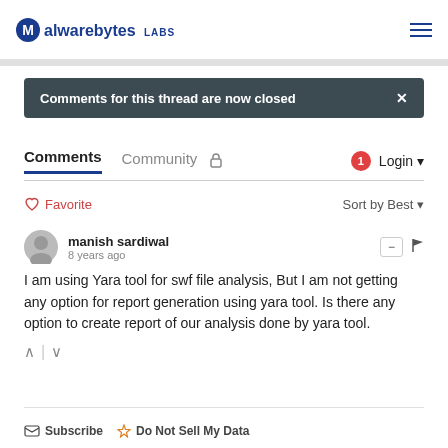Malwarebytes LABS
Comments for this thread are now closed
Comments  Community  Login
Favorite  Sort by Best
manish sardiwal
8 years ago
I am using Yara tool for swf file analysis, But I am not getting any option for report generation using yara tool. Is there any option to create report of our analysis done by yara tool.
Subscribe  Do Not Sell My Data